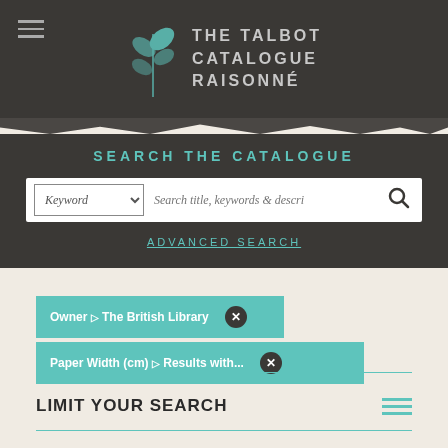THE TALBOT CATALOGUE RAISONNÉ
SEARCH THE CATALOGUE
Keyword | Search title, keywords & description
ADVANCED SEARCH
Owner :: The British Library ×
Paper Width (cm) :: Results with... ×
LIMIT YOUR SEARCH